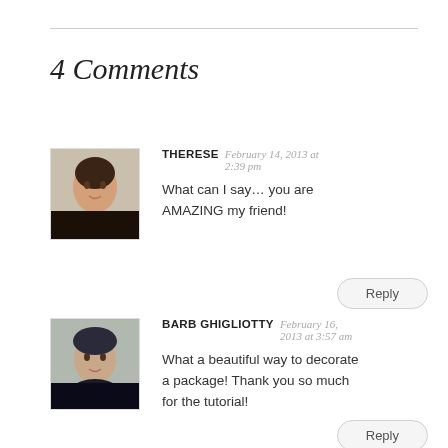4 Comments
THERESE   February 14, 2013 at 2:39 pm
What can I say… you are AMAZING my friend!
Reply
BARB GHIGLIOTTY   February 16, 2013 at 3:57 am
What a beautiful way to decorate a package! Thank you so much for the tutorial!
Reply